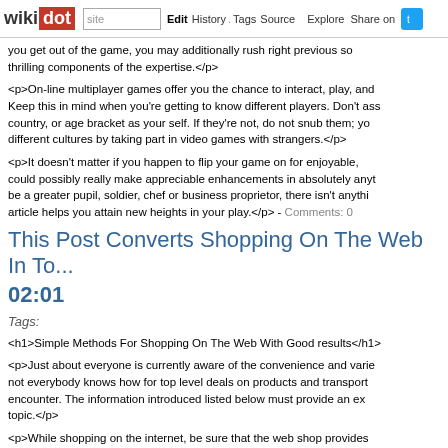wikidot | site Edit History Tags Source Explore Share on Twitter
you get out of the game, you may additionally rush right previous some thrilling components of the expertise.</p>
<p>On-line multiplayer games offer you the chance to interact, play, and Keep this in mind when you're getting to know different players. Don't ass country, or age bracket as your self. If they're not, do not snub them; yo different cultures by taking part in video games with strangers.</p>
<p>It doesn't matter if you happen to flip your game on for enjoyable, could possibly really make appreciable enhancements in absolutely anyt be a greater pupil, soldier, chef or business proprietor, there isn't anythi article helps you attain new heights in your play.</p> - Comments: 0
This Post Converts Shopping On The Web In To... 02:01
Tags:
<h1>Simple Methods For Shopping On The Web With Good results</h1>
<p>Just about everyone is currently aware of the convenience and varie not everybody knows how for top level deals on products and transport encounter. The information introduced listed below must provide an ex topic.</p>
<p>While shopping on the internet, be sure that the web shop provides your own personal information and facts from simply being robbed. So th web browser's Link container. The web page is attached in case the int More intelligent Due To Our Expert Consultancy stands for super transfer